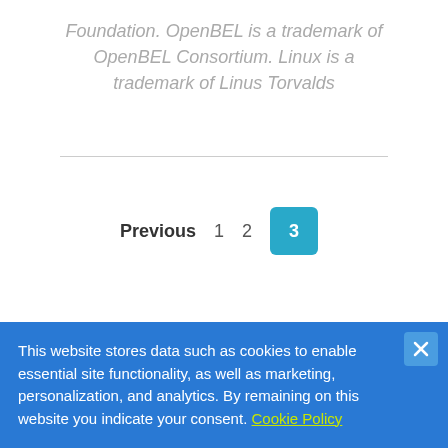Foundation. OpenBEL is a trademark of OpenBEL Consortium. Linux is a trademark of Linus Torvalds
Previous 1 2 3
This website stores data such as cookies to enable essential site functionality, as well as marketing, personalization, and analytics. By remaining on this website you indicate your consent. Cookie Policy